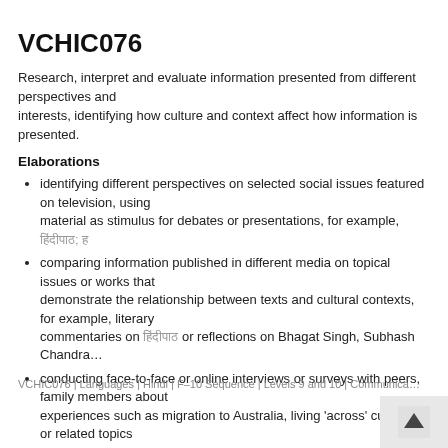VCHIC076
Research, interpret and evaluate information presented from different perspectives and interests, identifying how culture and context affect how information is presented.
Elaborations
identifying different perspectives on selected social issues featured on television, using material as stimulus for debates or presentations, for example, [Hindi text]; [Hindi text]
comparing information published in different media on topical issues or works that demonstrate the relationship between texts and cultural contexts, for example, literary commentaries on [Hindi text] or reflections on Bhagat Singh, Subhash Chandr…
conducting face-to-face or online interviews or surveys with peers, family members about experiences such as migration to Australia, living 'across' cultures or rela…
critically analysing texts such as blogs, letters or newspaper announcements for bias in opinions, and identifying author intent, for example, by reading and discussing [Hindi text]
comparing representations in texts such as advertisements for mobile phones in Hindi and English, considering why particular language or images have been selected…
listening to interviews with celebrities from fields such as entertainment, sports for cultural references that convey a sense of culture or context
VCHIC076 | Languages | Hindi | F–10 Sequence | Levels 9 and 10 | Communica…